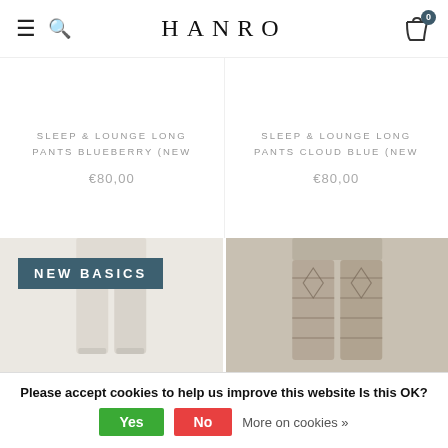HANRO
SLEEP & LOUNGE LONG PANTS BLUEBERRY (NEW
€80,00
SLEEP & LOUNGE LONG PANTS CLOUD BLUE (NEW
€80,00
[Figure (photo): White/cream cropped leggings product photo with NEW BASICS badge overlay]
[Figure (photo): Patterned wide-leg pants product photo with geometric/medallion print in taupe and brown]
Please accept cookies to help us improve this website Is this OK? Yes No More on cookies »